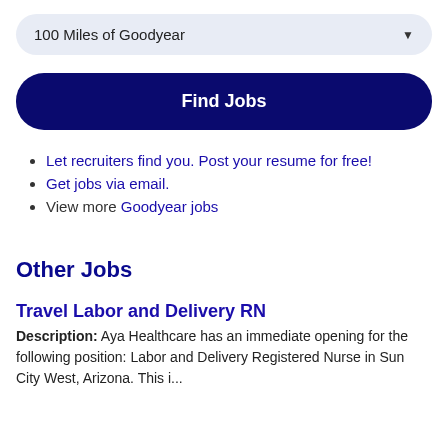100 Miles of Goodyear
Find Jobs
Let recruiters find you. Post your resume for free!
Get jobs via email.
View more Goodyear jobs
Other Jobs
Travel Labor and Delivery RN
Description: Aya Healthcare has an immediate opening for the following position: Labor and Delivery Registered Nurse in Sun City West, Arizona. This i...